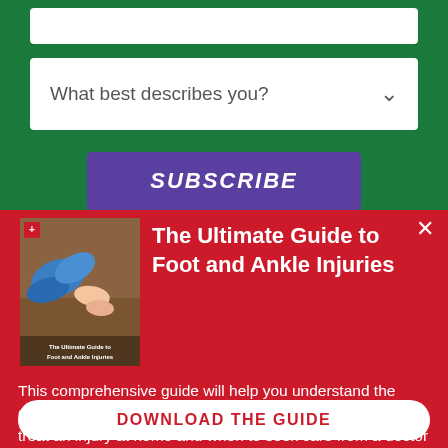[Figure (screenshot): Green background form section with a dropdown field labeled 'What best describes you?' with a chevron, and a purple SUBSCRIBE button below]
What best describes you?
SUBSCRIBE
[Figure (screenshot): Red popup overlay showing a book thumbnail for 'The Ultimate Guide to Foot and Ankle Injuries', descriptive text, and a DOWNLOAD THE GUIDE button. Close (×) button in top right.]
The Ultimate Guide to Foot and Ankle Injuries
This comprehensive guide will help you understand the causes of foot and ankle pain, injury prevention, how to treat an injury at home and when to seek care from a doctor
DOWNLOAD THE GUIDE